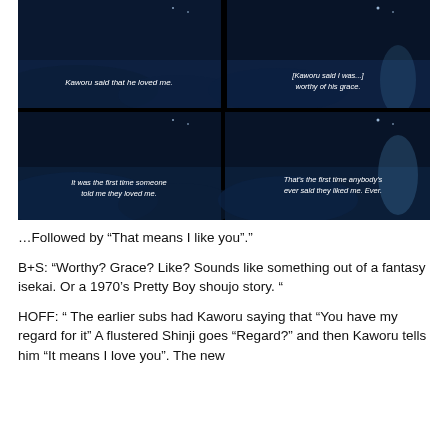[Figure (screenshot): Four anime screenshot panels from Neon Genesis Evangelion arranged in a 2x2 grid. Dark blue night sky and water scene. Top-left subtitle: 'Kaworu said that he loved me.' Top-right subtitle: '[Kaworu said I was...] worthy of his grace.' Bottom-left subtitle: 'It was the first time someone told me they loved me.' Bottom-right subtitle: "That's the first time anybody's ever said they liked me. Ever."]
…Followed by “That means I like you”.”
B+S: “Worthy? Grace? Like? Sounds like something out of a fantasy isekai. Or a 1970’s Pretty Boy shoujo story. “
HOFF: “ The earlier subs had Kaworu saying that “You have my regard for it” A flustered Shinji goes “Regard?” and then Kaworu tells him “It means I love you”. The new